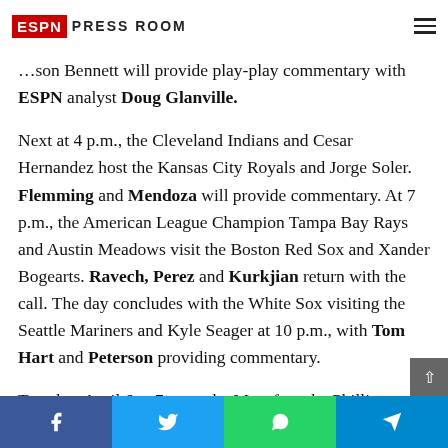ESPN PRESS ROOM
...son Bennett will provide play-play commentary with ESPN analyst Doug Glanville.
Next at 4 p.m., the Cleveland Indians and Cesar Hernandez host the Kansas City Royals and Jorge Soler. Flemming and Mendoza will provide commentary. At 7 p.m., the American League Champion Tampa Bay Rays and Austin Meadows visit the Boston Red Sox and Xander Bogearts. Ravech, Perez and Kurkjian return with the call. The day concludes with the White Sox visiting the Seattle Mariners and Kyle Seager at 10 p.m., with Tom Hart and Peterson providing commentary.
Tuesday, April 6 at 7 p.m., the Mets face the Phillies as Ravech, Perez and Kurkjian call their fourth game in